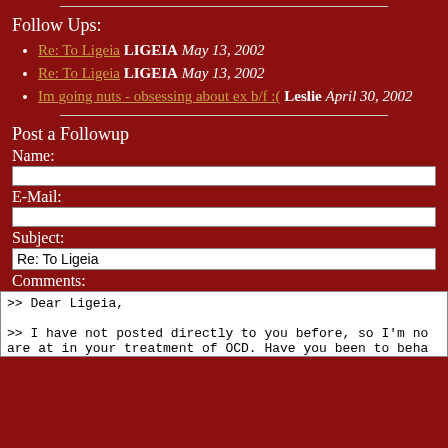[Figure (other): Horizontal divider line at top]
Follow Ups:
Re: To Ligeia LIGEIA May 13, 2002
Re: To Ligeia LIGEIA May 13, 2002
Im going nuts - obsessing about ex b/f :( Leslie April 30, 2002
[Figure (other): Horizontal divider line in middle]
Post a Followup
Name:
E-Mail:
Subject:
Re: To Ligeia
Comments:
>>  Dear Ligeia,

>>  I have not posted directly to you before, so I'm not sure where you are at in your treatment of OCD.  Have you been to beha psychiatrist for medication?  Anyway, to clear up your